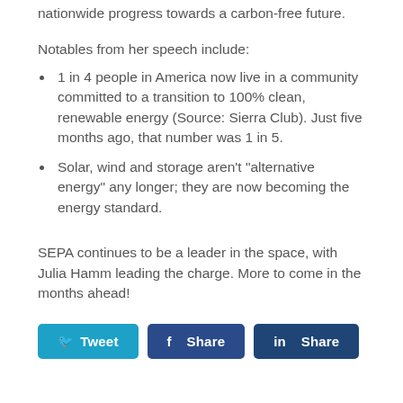nationwide progress towards a carbon-free future.
Notables from her speech include:
1 in 4 people in America now live in a community committed to a transition to 100% clean, renewable energy (Source: Sierra Club). Just five months ago, that number was 1 in 5.
Solar, wind and storage aren't "alternative energy" any longer; they are now becoming the energy standard.
SEPA continues to be a leader in the space, with Julia Hamm leading the charge. More to come in the months ahead!
[Figure (other): Social sharing buttons: Tweet (Twitter), Share (Facebook), Share (LinkedIn)]